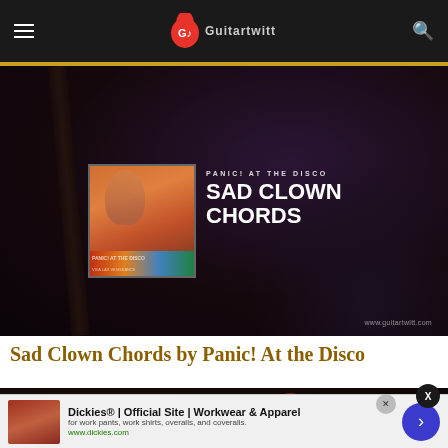GuitarTwitt navigation bar with logo and search icon
[Figure (photo): Dark background photo of a guitar with overlay showing Panic! At the Disco album art and text 'SAD CLOWN CHORDS' with watermark www.guitartwitt.com]
Sad Clown Chords by Panic! At the Disco
[Figure (photo): Dark close-up photo of guitar strings and body]
[Figure (screenshot): Popup notification bar showing 'Dancin In The Country' with thumbnail]
Dickies® | Official Site | Workwear & Apparel
for work pants, work shirts, overalls, and coveralls.
www.dickies.com